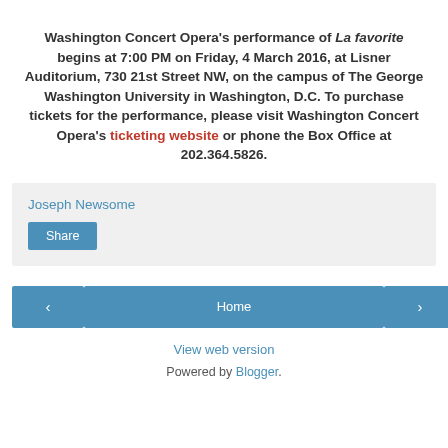Washington Concert Opera's performance of La favorite begins at 7:00 PM on Friday, 4 March 2016, at Lisner Auditorium, 730 21st Street NW, on the campus of The George Washington University in Washington, D.C. To purchase tickets for the performance, please visit Washington Concert Opera's ticketing website or phone the Box Office at 202.364.5826.
Joseph Newsome
Share
Home
View web version
Powered by Blogger.